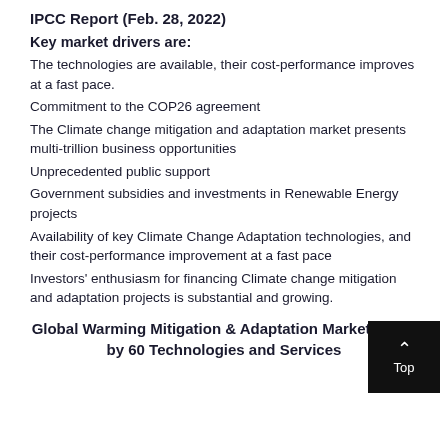IPCC Report (Feb. 28, 2022)
Key market drivers are:
The technologies are available, their cost-performance improves at a fast pace.
Commitment to the COP26 agreement
The Climate change mitigation and adaptation market presents multi-trillion business opportunities
Unprecedented public support
Government subsidies and investments in Renewable Energy projects
Availability of key Climate Change Adaptation technologies, and their cost-performance improvement at a fast pace
Investors' enthusiasm for financing Climate change mitigation and adaptation projects is substantial and growing.
Global Warming Mitigation & Adaptation Market Share by 60 Technologies and Services